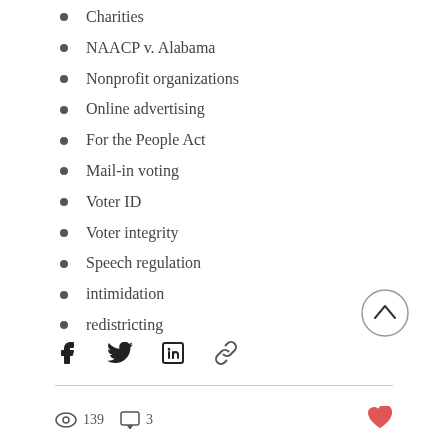Charities
NAACP v. Alabama
Nonprofit organizations
Online advertising
For the People Act
Mail-in voting
Voter ID
Voter integrity
Speech regulation
intimidation
redistricting
[Figure (other): Scroll-to-top circular button with chevron up arrow]
[Figure (other): Social share icons: Facebook, Twitter, LinkedIn, link/copy]
139  3